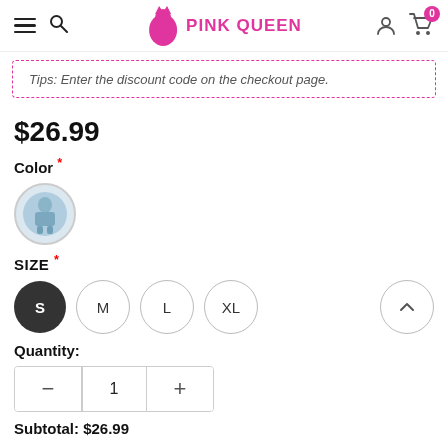PINK QUEEN — navigation header with hamburger, search, logo, user, and cart (0 items)
Tips: Enter the discount code on the checkout page.
$26.99
Color *
[Figure (photo): Circular color swatch showing a blue/denim outfit]
SIZE *
S  M  L  XL
Quantity:
1
Subtotal: $26.99